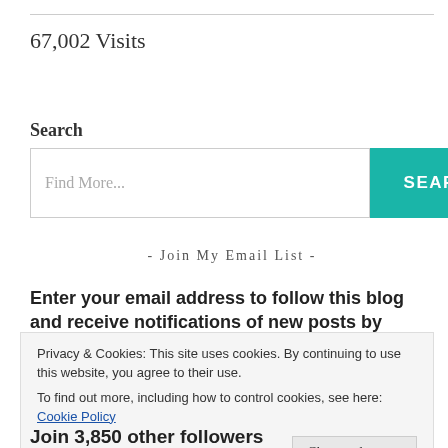67,002 Visits
Search
[Figure (screenshot): Search input box with placeholder 'Find More...' and a teal SEARCH button]
- Join My Email List -
Enter your email address to follow this blog and receive notifications of new posts by email.
Privacy & Cookies: This site uses cookies. By continuing to use this website, you agree to their use.
To find out more, including how to control cookies, see here: Cookie Policy
Close and accept
Join 3,850 other followers